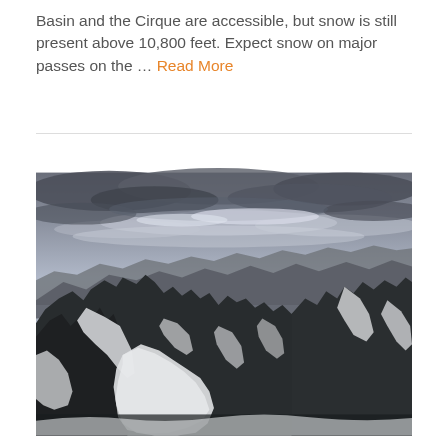Basin and the Cirque are accessible, but snow is still present above 10,800 feet. Expect snow on major passes on the ... Read More
[Figure (photo): Aerial or high-elevation panoramic photograph of a rugged mountain range with jagged rocky peaks and significant snow coverage on the slopes and cirque basins. The sky above is dramatic with heavy grey and white clouds. The scene appears to be taken from a high vantage point looking across multiple mountain ridges with snow patches visible in the valleys between dark rocky spires.]